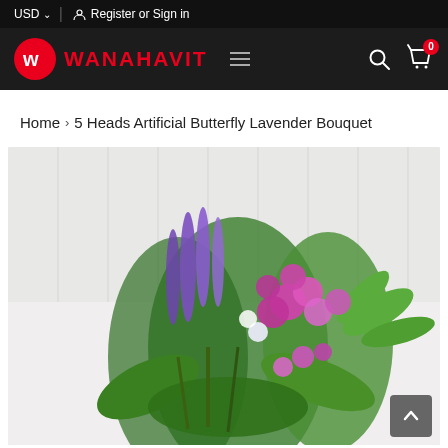USD | Register or Sign in
WANAHAVIT — navigation bar with logo, hamburger menu, search, cart (0 items)
Home › 5 Heads Artificial Butterfly Lavender Bouquet
[Figure (photo): Photo of artificial butterfly lavender bouquet with purple, magenta, and white flowers with green foliage on a white surface]